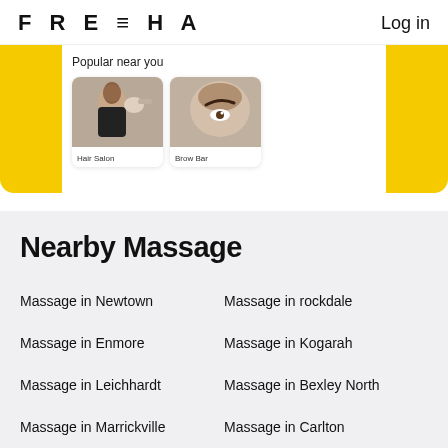FRESHA    Log in
[Figure (screenshot): App screenshot banner showing 'Popular near you' with Hair Salon and Brow Bar cards on a yellow background]
Nearby Massage
Massage in Newtown
Massage in rockdale
Massage in Enmore
Massage in Kogarah
Massage in Leichhardt
Massage in Bexley North
Massage in Marrickville
Massage in Carlton
Massage in Welli Creek
Massage in Hurstville